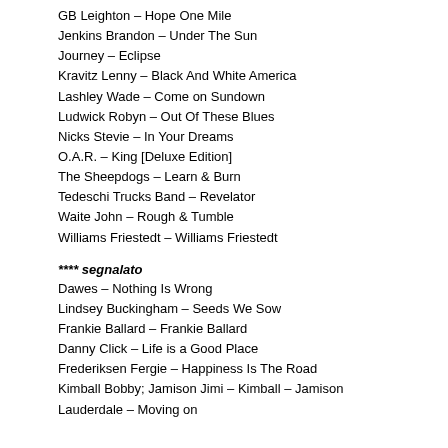GB Leighton – Hope One Mile
Jenkins Brandon – Under The Sun
Journey – Eclipse
Kravitz Lenny – Black And White America
Lashley Wade – Come on Sundown
Ludwick Robyn – Out Of These Blues
Nicks Stevie – In Your Dreams
O.A.R. – King [Deluxe Edition]
The Sheepdogs – Learn & Burn
Tedeschi Trucks Band – Revelator
Waite John – Rough & Tumble
Williams Friestedt – Williams Friestedt
**** segnalato
Dawes – Nothing Is Wrong
Lindsey Buckingham – Seeds We Sow
Frankie Ballard – Frankie Ballard
Danny Click – Life is a Good Place
Frederiksen Fergie – Happiness Is The Road
Kimball Bobby; Jamison Jimi – Kimball – Jamison
Lauderdale – Moving on